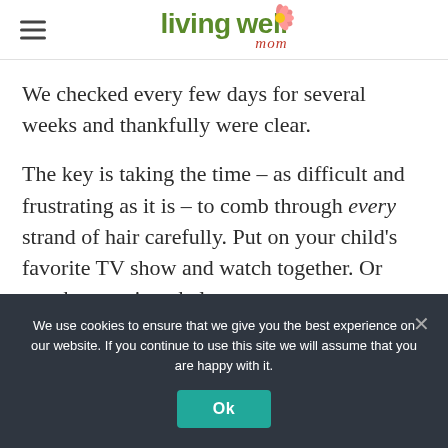living well mom
We checked every few days for several weeks and thankfully were clear.
The key is taking the time – as difficult and frustrating as it is – to comb through every strand of hair carefully. Put on your child's favorite TV show and watch together. Or watch a movie to help pass
We use cookies to ensure that we give you the best experience on our website. If you continue to use this site we will assume that you are happy with it.